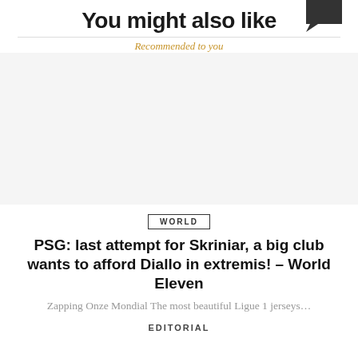You might also like
Recommended to you
[Figure (other): Blank white image placeholder area for article thumbnail]
WORLD
PSG: last attempt for Skriniar, a big club wants to afford Diallo in extremis! – World Eleven
Zapping Onze Mondial The most beautiful Ligue 1 jerseys…
EDITORIAL